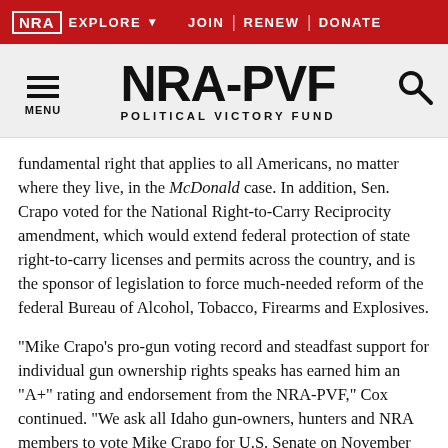NRA EXPLORE  JOIN | RENEW | DONATE
[Figure (logo): NRA-PVF Political Victory Fund logo with hamburger menu icon and search icon]
fundamental right that applies to all Americans, no matter where they live, in the McDonald case. In addition, Sen. Crapo voted for the National Right-to-Carry Reciprocity amendment, which would extend federal protection of state right-to-carry licenses and permits across the country, and is the sponsor of legislation to force much-needed reform of the federal Bureau of Alcohol, Tobacco, Firearms and Explosives.
"Mike Crapo's pro-gun voting record and steadfast support for individual gun ownership rights speaks has earned him an "A+" rating and endorsement from the NRA-PVF," Cox continued. "We ask all Idaho gun-owners, hunters and NRA members to vote Mike Crapo for U.S. Senate on November 2nd."